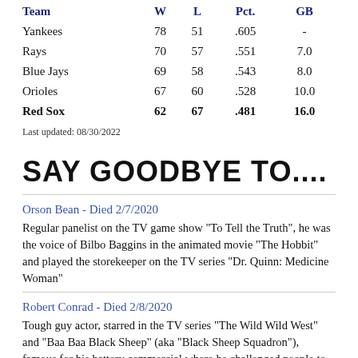| Team | W | L | Pct. | GB |
| --- | --- | --- | --- | --- |
| Yankees | 78 | 51 | .605 | - |
| Rays | 70 | 57 | .551 | 7.0 |
| Blue Jays | 69 | 58 | .543 | 8.0 |
| Orioles | 67 | 60 | .528 | 10.0 |
| Red Sox | 62 | 67 | .481 | 16.0 |
Last updated: 08/30/2022
SAY GOODBYE TO....
Orson Bean - Died 2/7/2020
Regular panelist on the TV game show "To Tell the Truth", he was the voice of Bilbo Baggins in the animated movie "The Hobbit" and played the storekeeper on the TV series "Dr. Quinn: Medicine Woman"
Robert Conrad - Died 2/8/2020
Tough guy actor, starred in the TV series "The Wild Wild West" and "Baa Baa Black Sheep" (aka "Black Sheep Squadron"), famous for his battery commercial where he challenged people to